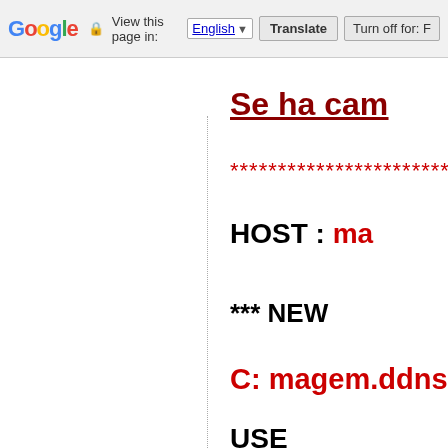Google | View this page in: English | Translate | Turn off for: F
Se ha cam
**********************************
HOST : ma
*** NEW
C: magem.ddns
USE